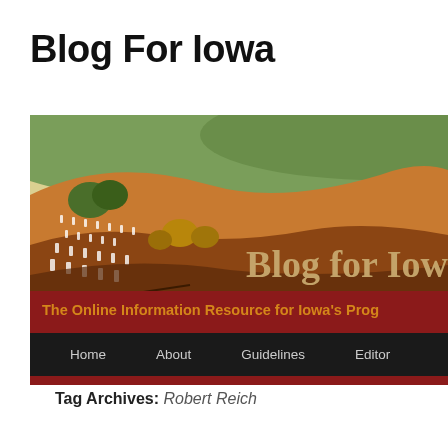Blog For Iowa
[Figure (illustration): Blog for Iowa website banner showing a Grant Wood-style Iowa farm landscape painting with rolling hills and fields, overlaid with the text 'Blog for Iow' (partially cropped). Below the image is a dark red bar with orange text 'The Online Information Resource for Iowa's Prog' (partially cropped). Below that is a black navigation bar with white menu items: Home, About, Guidelines, Editor.]
Tag Archives: Robert Reich